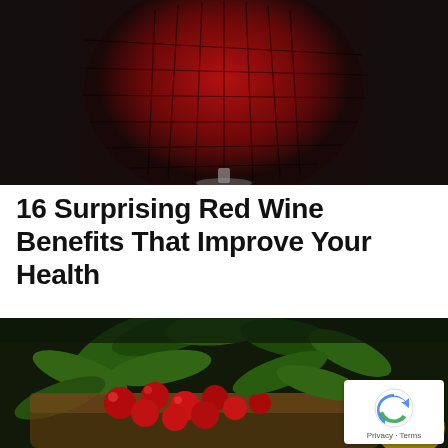[Figure (photo): Close-up photograph of a red wine glass with dark background, showing the deep red wine illuminated with a grid-like light reflection pattern]
16 Surprising Red Wine Benefits That Improve Your Health
[Figure (photo): Close-up photograph of a basket of red berries/fruits with green leaves on a dark background]
Privacy · Terms